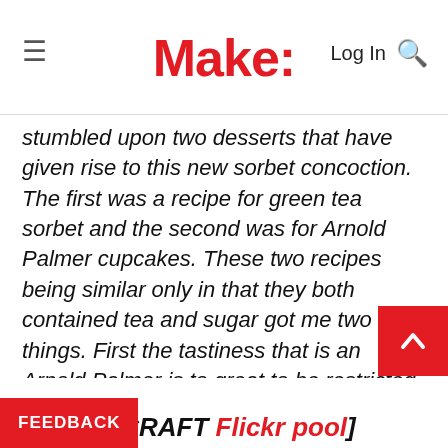Make:
stumbled upon two desserts that have given rise to this new sorbet concoction. The first was a recipe for green tea sorbet and the second was for Arnold Palmer cupcakes. These two recipes being similar only in that they both contained tea and sugar got me two things. First the tastiness that is an Arnold Palmer is to great to be restricted into just a drink and the second thought was if you could make green tea sorbet you could make Black tea sorbet. From these thoughts this tasty dessert and Instructable was born.
[via the CRAFT Flickr pool]